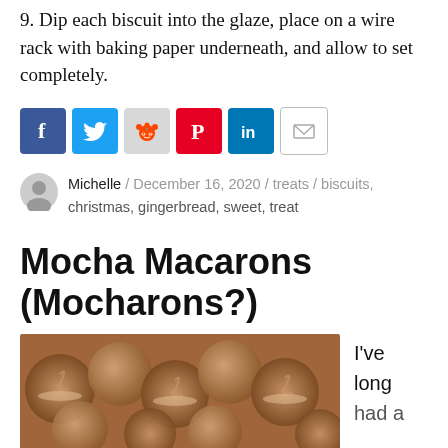9. Dip each biscuit into the glaze, place on a wire rack with baking paper underneath, and allow to set completely.
[Figure (infographic): Row of social media share icons: Facebook (blue), Twitter (blue bird), Reddit (grey alien), Pinterest (red P), LinkedIn (blue in), Email (grey envelope)]
Michelle / December 16, 2020 / treats / biscuits, christmas, gingerbread, sweet, treat
Mocha Macarons (Mocharons?)
[Figure (photo): Close-up photo of mocha macarons with swirled cream filling, brown colored sandwich cookies filling the frame.]
I've long had a